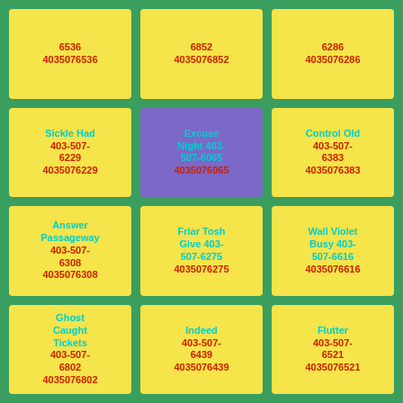6536 4035076536
6852 4035076852
6286 4035076286
Sickle Had 403-507-6229 4035076229
Excuse Night 403-507-6065 4035076065
Control Old 403-507-6383 4035076383
Answer Passageway 403-507-6308 4035076308
Friar Tosh Give 403-507-6275 4035076275
Wall Violet Busy 403-507-6616 4035076616
Ghost Caught Tickets 403-507-6802 4035076802
Indeed 403-507-6439 4035076439
Flutter 403-507-6521 4035076521